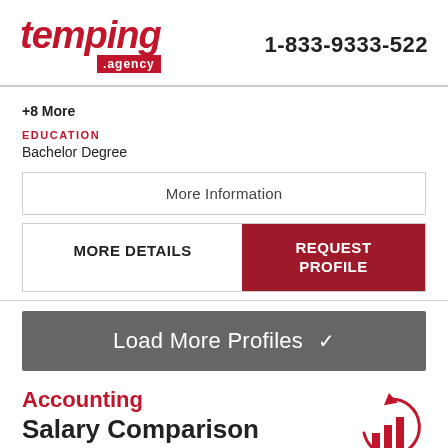[Figure (logo): temping.agency logo in red italic bold font with red bar showing '.agency']
1-833-9333-522
+8 More
EDUCATION
Bachelor Degree
More Information
MORE DETAILS
REQUEST PROFILE
Load More Profiles ✔
Accounting
Salary Comparison
[Figure (illustration): Bar chart icon with circular arrow, red outline on white background]